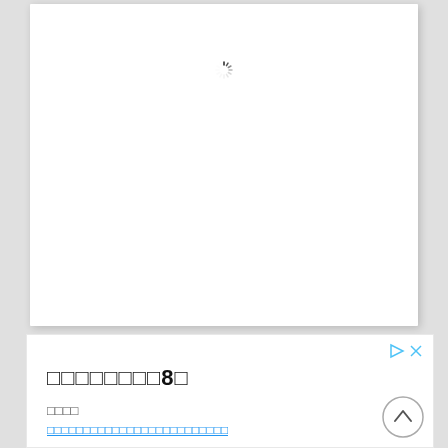[Figure (screenshot): White document card with a loading spinner icon centered near the top]
[Figure (screenshot): Advertisement panel with ad icons (play and close), a bold heading with Japanese/CJK characters '□□□□□□□□8□', subtext '□□□□', and a blue underlined link with CJK characters]
[Figure (other): Circular back-to-top arrow button in bottom right corner of ad panel]